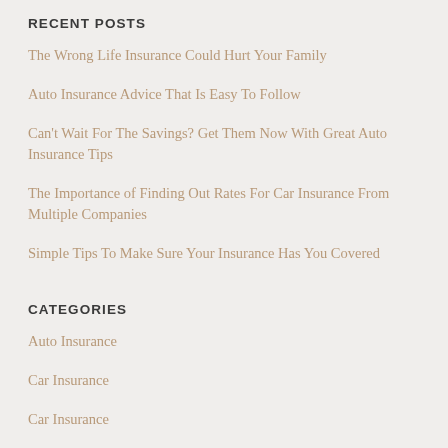RECENT POSTS
The Wrong Life Insurance Could Hurt Your Family
Auto Insurance Advice That Is Easy To Follow
Can't Wait For The Savings? Get Them Now With Great Auto Insurance Tips
The Importance of Finding Out Rates For Car Insurance From Multiple Companies
Simple Tips To Make Sure Your Insurance Has You Covered
CATEGORIES
Auto Insurance
Car Insurance
Car Insurance